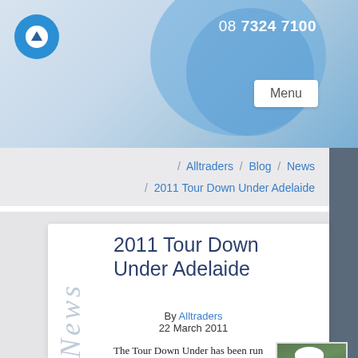08 7324 7100
/ Alltraders / Blog / News / 2011 Tour Down Under Adelaide
2011 Tour Down Under Adelaide
By Alltraders
22 March 2011
The Tour Down Under has been run and won, and Alltraders' Sponsored rider Jeremy Ross tells us
[Figure (photo): A cyclist wearing a white helmet and yellow-green jersey]